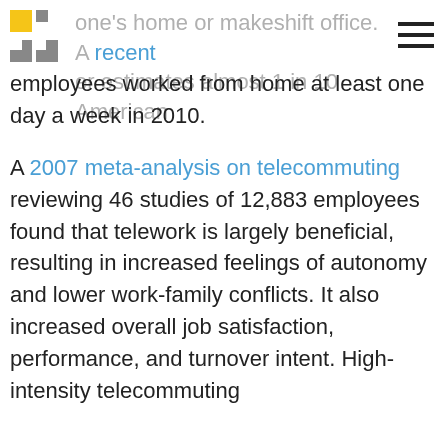one's home or makeshift office. A recent er estimates almost 1 in 10 American
employees worked from home at least one day a week in 2010.
A 2007 meta-analysis on telecommuting reviewing 46 studies of 12,883 employees found that telework is largely beneficial, resulting in increased feelings of autonomy and lower work-family conflicts. It also increased overall job satisfaction, performance, and turnover intent. High-intensity telecommuting